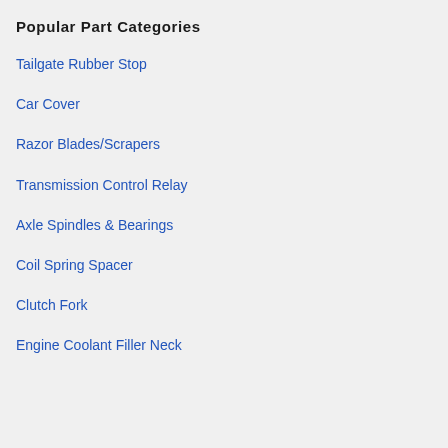More Popular Parts for All Makes
Popular Part Categories
Tailgate Rubber Stop
Car Cover
Razor Blades/Scrapers
Transmission Control Relay
Axle Spindles & Bearings
Coil Spring Spacer
Clutch Fork
Engine Coolant Filler Neck